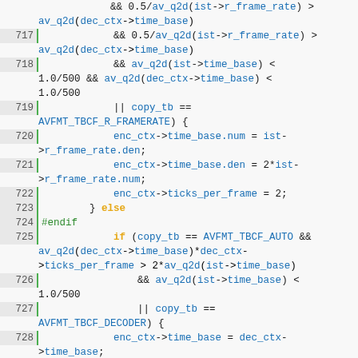[Figure (screenshot): Source code viewer showing C code lines 717-735 with syntax highlighting. Line numbers shown in grey background with green left border. Keywords in orange, identifiers in blue, preprocessor in green.]